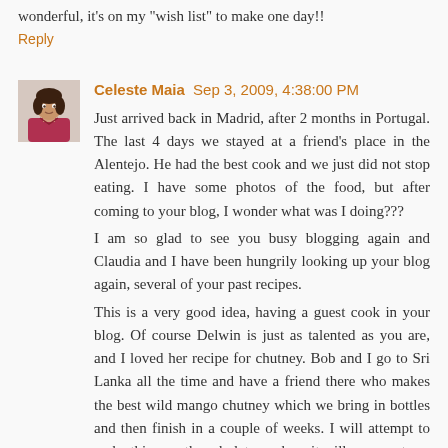wonderful, it's on my "wish list" to make one day!!
Reply
Celeste Maia  Sep 3, 2009, 4:38:00 PM
Just arrived back in Madrid, after 2 months in Portugal. The last 4 days we stayed at a friend's place in the Alentejo. He had the best cook and we just did not stop eating. I have some photos of the food, but after coming to your blog, I wonder what was I doing???
I am so glad to see you busy blogging again and Claudia and I have been hungrily looking up your blog again, several of your past recipes.
This is a very good idea, having a guest cook in your blog. Of course Delwin is just as talented as you are, and I loved her recipe for chutney. Bob and I go to Sri Lanka all the time and have a friend there who makes the best wild mango chutney which we bring in bottles and then finish in a couple of weeks. I will attempt to make this one, though, lets see how it will come out.
Reply